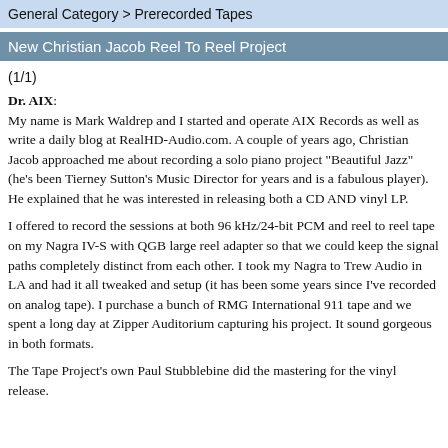General Category > Prerecorded Tapes
New Christian Jacob Reel To Reel Project
(1/1)
Dr. AIX: My name is Mark Waldrep and I started and operate AIX Records as well as write a daily blog at RealHD-Audio.com. A couple of years ago, Christian Jacob approached me about recording a solo piano project "Beautiful Jazz" (he's been Tierney Sutton's Music Director for years and is a fabulous player). He explained that he was interested in releasing both a CD AND vinyl LP.

I offered to record the sessions at both 96 kHz/24-bit PCM and reel to reel tape on my Nagra IV-S with QGB large reel adapter so that we could keep the signal paths completely distinct from each other. I took my Nagra to Trew Audio in LA and had it all tweaked and setup (it has been some years since I've recorded on analog tape). I purchase a bunch of RMG International 911 tape and we spent a long day at Zipper Auditorium capturing his project. It sound gorgeous in both formats.

The Tape Project's own Paul Stubblebine did the mastering for the vinyl release.